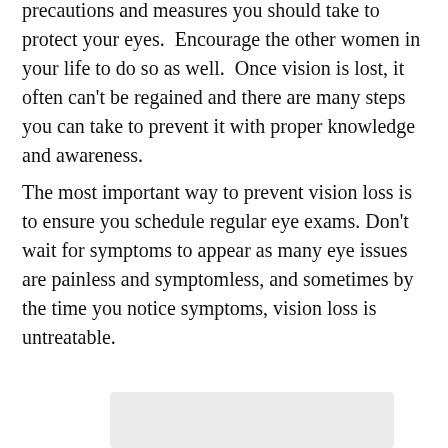precautions and measures you should take to protect your eyes.  Encourage the other women in your life to do so as well.  Once vision is lost, it often can't be regained and there are many steps you can take to prevent it with proper knowledge and awareness.
The most important way to prevent vision loss is to ensure you schedule regular eye exams. Don't wait for symptoms to appear as many eye issues are painless and symptomless, and sometimes by the time you notice symptoms, vision loss is untreatable.
[Figure (other): Gray rounded rectangle box at the bottom of the page, partially visible]